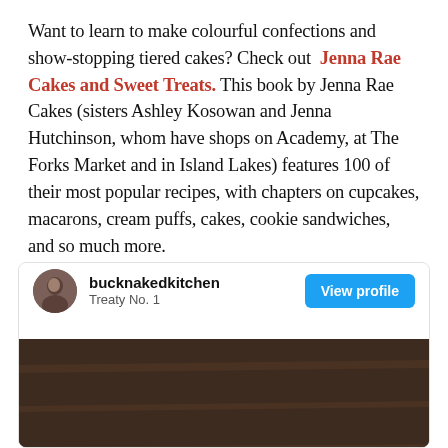Want to learn to make colourful confections and show-stopping tiered cakes? Check out Jenna Rae Cakes and Sweet Treats. This book by Jenna Rae Cakes (sisters Ashley Kosowan and Jenna Hutchinson, whom have shops on Academy, at The Forks Market and in Island Lakes) features 100 of their most popular recipes, with chapters on cupcakes, macarons, cream puffs, cakes, cookie sandwiches, and so much more.
[Figure (screenshot): Instagram-style profile card showing bucknakedkitchen, Treaty No. 1, with a View profile button and a food photo below showing a salad dish with carrots, pomegranate seeds, and herbs on a wooden table with a cookbook.]